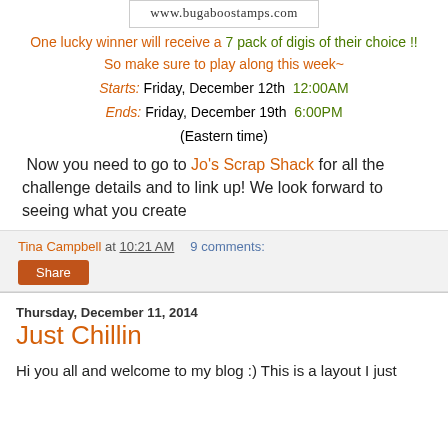[Figure (logo): Bugaboo Stamps logo with cartoon character and website URL www.bugaboostamps.com]
One lucky winner will receive a 7 pack of digis of their choice !! So make sure to play along this week~
Starts: Friday, December 12th  12:00AM
Ends: Friday, December 19th  6:00PM
(Eastern time)
Now you need to go to Jo's Scrap Shack for all the challenge details and to link up! We look forward to seeing what you create
Tina Campbell at 10:21 AM  9 comments:
Share
Thursday, December 11, 2014
Just Chillin
Hi you all and welcome to my blog :) This is a layout I just